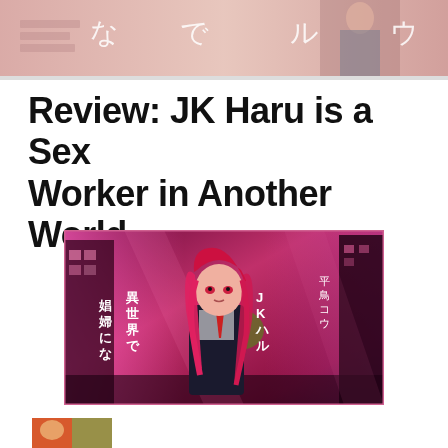[Figure (illustration): Top partial anime/manga cover banner showing Japanese characters なでルウ on a pink/warm colored background with stylized figures]
Review: JK Haru is a Sex Worker in Another World
[Figure (illustration): Light novel cover art for JK Haru is a Sex Worker in Another World showing an anime girl with long red/pink hair in a school uniform standing in a neon-lit alley, with Japanese text 異世界で娼婦にな JKハル 平鳥コウ]
[Figure (illustration): Partial thumbnail image at bottom of page, colorful anime art]